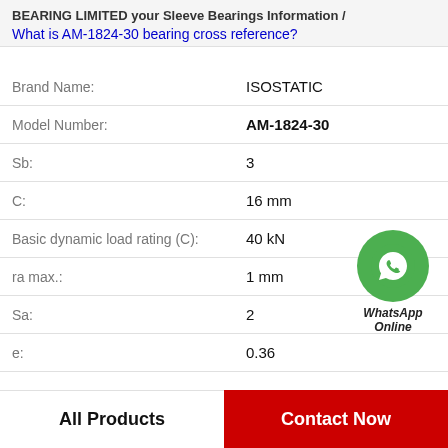BEARING LIMITED your Sleeve Bearings Information / What is AM-1824-30 bearing cross reference?
| Property | Value |
| --- | --- |
| Brand Name: | ISOSTATIC |
| Model Number: | AM-1824-30 |
| Sb: | 3 |
| C: | 16 mm |
| Basic dynamic load rating (C): | 40 kN |
| ra max.: | 1 mm |
| Sa: | 2 |
| e: | 0.36 |
[Figure (logo): WhatsApp Online green circle icon with phone handset, text 'WhatsApp Online' below]
All Products    Contact Now